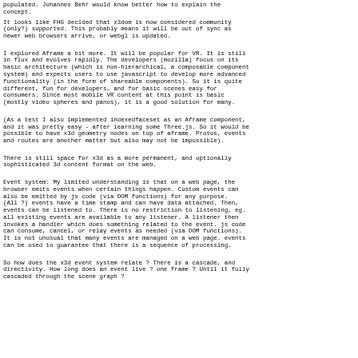populated. Johannes Behr would know better how to explain the concept.
It looks like FHG decided that x3dom is now considered community (only?) supported. This probably means it will be out of sync as newer web browsers arrive, or webgl is updated.
I explored Aframe a bit more. It will be popular for VR. It is still in flux and evolves rapidly. The developers (mozilla) focus on its basic architecture (which is non-hierarchical, a composable component system) and expects users to use javascript to develop more advanced functionality (in the form of shareable components). So it is quite different, fun for developers, and for basic scenes easy for consumers. Since most mobile VR content at this point is basic (mostly video spheres and panos), it is a good solution for many.
(As a test I also implemented indexedfaceset as an Aframe component, and it was pretty easy - after learning some Three.js. So it would be possible to have x3d geometry nodes on top of aframe. Protos, events and routes are another matter but also may not be impossible).
There is still space for x3d as a more permanent, and optionally sophisticated 3d content format on the web.
Event system: My limited understanding is that on a web page, the browser emits events when certain things happen. Custom events can also be emitted by js code (via DOM functions) for any purpose. (All ?) events have a time stamp and can have data attached. Then, events can be listened to. There is no restriction to listening, eg. all existing events are available to any listener. A listener then invokes a handler which does something related to the event. js code can consume, cancel, or relay events as needed (via DOM functions). It is not unusual that many events are managed on a web page. events can be used to guarantee that there is a sequence of processing.
So how does the x3d event system relate ? There is a cascade, and directivity. How long does an event live ? one frame ? Until it fully cascaded through the scene graph ?